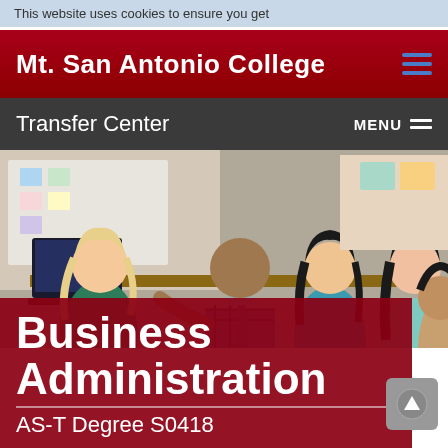This website uses cookies to ensure you get
Mt. San Antonio College
Transfer Center
[Figure (photo): Group of college students and an instructor gathered around a laptop in a classroom setting, looking at something together. The instructor is wearing a blue tie and plaid shirt.]
Business Administration
AS-T Degree S0418